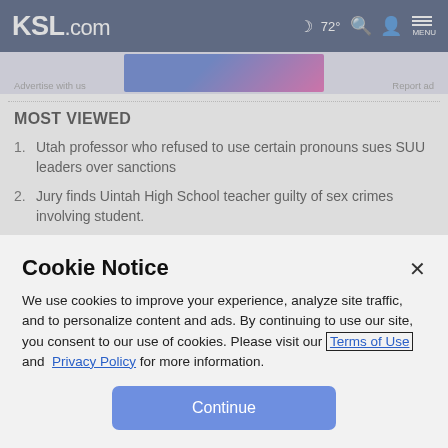KSL.com  72°  MENU
[Figure (screenshot): Advertisement banner with blue and pink gradient background]
Advertise with us    Report ad
MOST VIEWED
Utah professor who refused to use certain pronouns sues SUU leaders over sanctions
Jury finds Uintah High School teacher guilty of sex crimes involving student.
Cookie Notice
We use cookies to improve your experience, analyze site traffic, and to personalize content and ads. By continuing to use our site, you consent to our use of cookies. Please visit our Terms of Use and  Privacy Policy for more information.
Continue